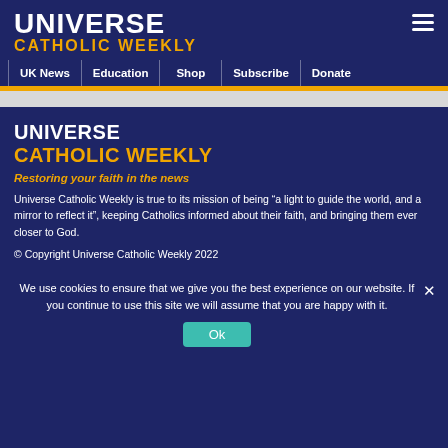UNIVERSE CATHOLIC WEEKLY
UK News
Education
Shop
Subscribe
Donate
UNIVERSE CATHOLIC WEEKLY
Restoring your faith in the news
Universe Catholic Weekly is true to its mission of being “a light to guide the world, and a mirror to reflect it”, keeping Catholics informed about their faith, and bringing them ever closer to God.
© Copyright Universe Catholic Weekly 2022
We use cookies to ensure that we give you the best experience on our website. If you continue to use this site we will assume that you are happy with it.